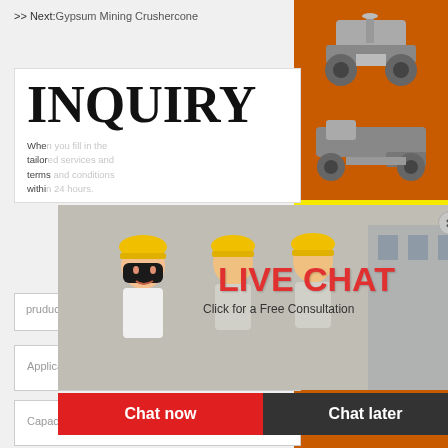>> Next:Gypsum Mining Crushercone
INQUIRY
Whe... tailor... terms... within...
pruduct*
Application*
Capacity*
[Figure (screenshot): Live chat popup overlay with workers in hard hats, red LIVE CHAT heading, Chat now and Chat later buttons]
[Figure (photo): Orange sidebar with mining machinery images]
Enjoy 3% discount
Click to Chat
Enquiry
limingjlmofen@sina.com